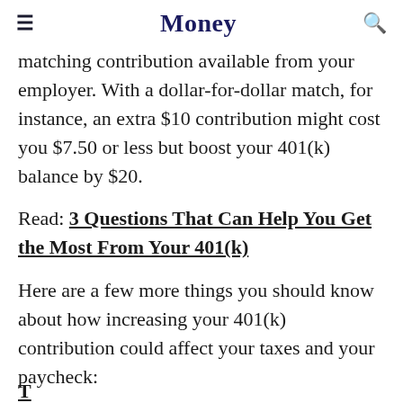Money
matching contribution available from your employer. With a dollar-for-dollar match, for instance, an extra $10 contribution might cost you $7.50 or less but boost your 401(k) balance by $20.
Read: 3 Questions That Can Help You Get the Most From Your 401(k)
Here are a few more things you should know about how increasing your 401(k) contribution could affect your taxes and your paycheck: